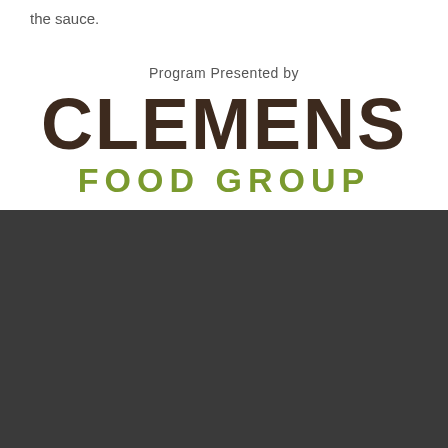the sauce.
[Figure (logo): Clemens Food Group logo with 'Program Presented by' text above. 'CLEMENS' in large dark brown letters, 'FOOD GROUP' in olive green letters below.]
Hyde Park, NY Location
1946 Campus Dr. | Hyde Park, NY 12538
Maps & Directions
St. Helena, CA Location
2555 Main St. | St. Helena, CA 94574
Maps & Directions